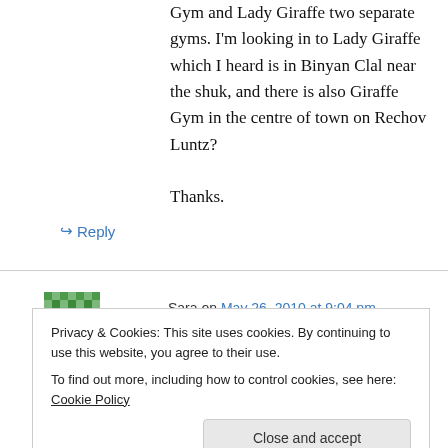Gym and Lady Giraffe two separate gyms. I'm looking in to Lady Giraffe which I heard is in Binyan Clal near the shuk, and there is also Giraffe Gym in the centre of town on Rechov Luntz?

Thanks.
↪ Reply
Sara on May 26, 2010 at 9:04 pm
Privacy & Cookies: This site uses cookies. By continuing to use this website, you agree to their use.
To find out more, including how to control cookies, see here: Cookie Policy
Close and accept
membership rates per month for.